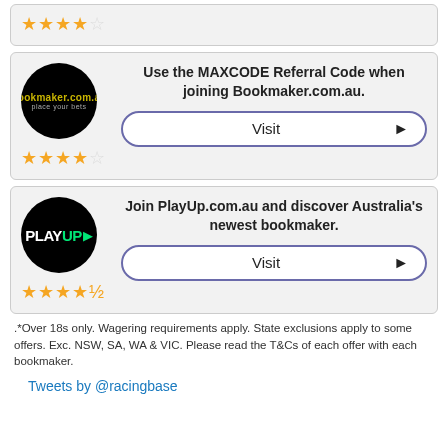[Figure (other): Partial top card showing 4 gold stars and 1 empty star rating]
[Figure (other): Bookmaker.com.au referral card with logo, text, Visit button, and 4-star rating]
[Figure (other): PlayUp.com.au bookmaker card with logo, text, Visit button, and 4.5-star rating]
.*Over 18s only. Wagering requirements apply. State exclusions apply to some offers. Exc. NSW, SA, WA & VIC. Please read the T&Cs of each offer with each bookmaker.
Tweets by @racingbase